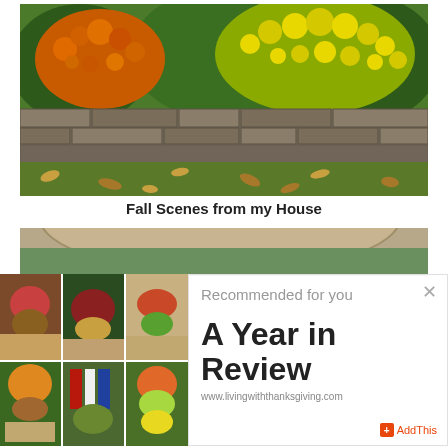[Figure (photo): Garden photo showing orange and yellow chrysanthemum flowers growing above a stone retaining wall, with grass lawn and fallen leaves below]
Fall Scenes from my House
[Figure (photo): Partial view of a wooden bowl on a table setting]
[Figure (photo): 6-cell grid of small table decoration and floral arrangement photos]
Recommended for you
A Year in Review
www.livingwiththanksgiving.com
AddThis